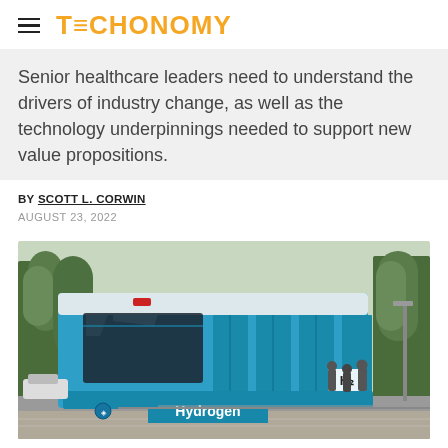TECHONOMY
Senior healthcare leaders need to understand the drivers of industry change, as well as the technology underpinnings needed to support new value propositions.
BY SCOTT L. CORWIN
AUGUST 23, 2022
[Figure (photo): A blue hydrogen-powered tram on a city street lined with green trees, with pedestrians visible in the background. The tram displays 'H2' and 'Hydrogen' branding on its front.]